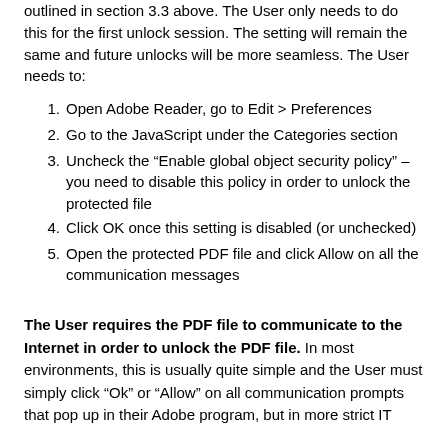outlined in section 3.3 above. The User only needs to do this for the first unlock session. The setting will remain the same and future unlocks will be more seamless. The User needs to:
Open Adobe Reader, go to Edit > Preferences
Go to the JavaScript under the Categories section
Uncheck the “Enable global object security policy” – you need to disable this policy in order to unlock the protected file
Click OK once this setting is disabled (or unchecked)
Open the protected PDF file and click Allow on all the communication messages
The User requires the PDF file to communicate to the Internet in order to unlock the PDF file. In most environments, this is usually quite simple and the User must simply click “Ok” or “Allow” on all communication prompts that pop up in their Adobe program, but in more strict IT